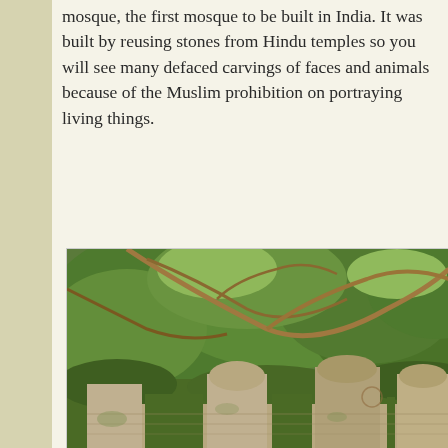mosque, the first mosque to be built in India. It was built by reusing stones from Hindu temples so you will see many defaced carvings of faces and animals because of the Muslim prohibition on portraying living things.
[Figure (photo): Photograph showing stone structures with arched battlements in the foreground, surrounded by dense green foliage and tree branches overhead. The stone walls appear old and weathered, characteristic of a historic mosque or fort.]